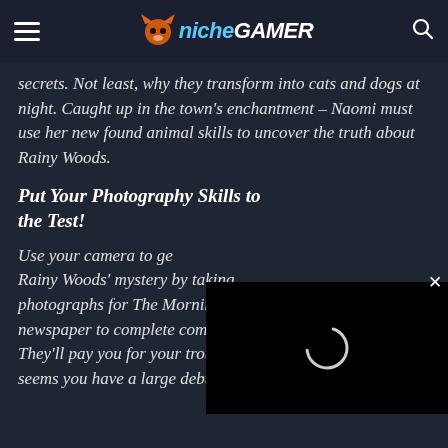Niche Gamer
secrets. Not least, why they transform into cats and dogs at night. Caught up in the town's enchantment – Naomi must use her new found animal skills to uncover the truth about Rainy Woods.
Put Your Photography Skills to the Test!
Use your camera to get to the bottom of Rainy Woods' mystery by taking photographs for The Morning Bell newspaper to complete commissions. They'll pay you for your trouble but it seems you have a large debt
[Figure (screenshot): Video player overlay with black background and loading spinner circle, with X close button in upper right]